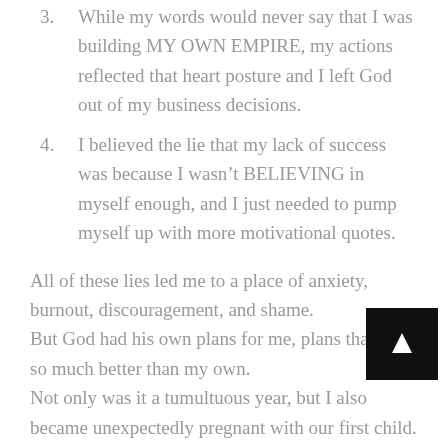3. While my words would never say that I was building MY OWN EMPIRE, my actions reflected that heart posture and I left God out of my business decisions.
4. I believed the lie that my lack of success was because I wasn't BELIEVING in myself enough, and I just needed to pump myself up with more motivational quotes.
All of these lies led me to a place of anxiety, burnout, discouragement, and shame. But God had his own plans for me, plans that were so much better than my own. Not only was it a tumultuous year, but I also became unexpectedly pregnant with our first child. I had always been excited to be a mom, so it was an exciting change, but it threw my